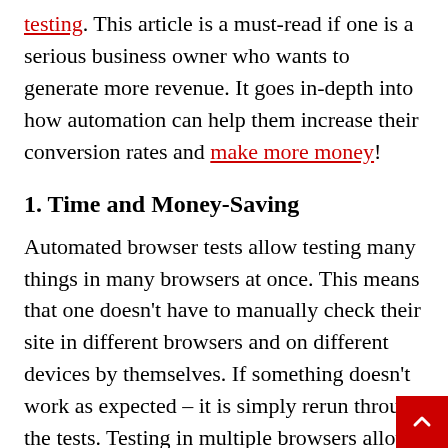testing. This article is a must-read if one is a serious business owner who wants to generate more revenue. It goes in-depth into how automation can help them increase their conversion rates and make more money!
1. Time and Money-Saving
Automated browser tests allow testing many things in many browsers at once. This means that one doesn't have to manually check their site in different browsers and on different devices by themselves. If something doesn't work as expected – it is simply rerun through the tests. Testing in multiple browsers allows catching more errors than manual checking ever could. Because